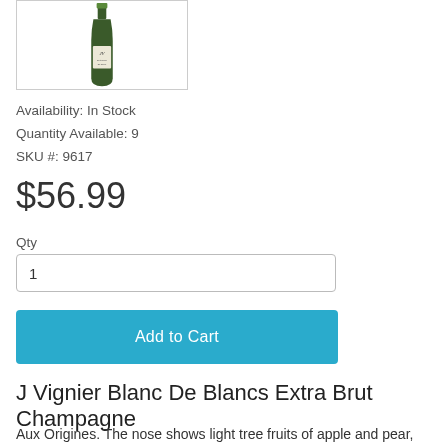[Figure (photo): Champagne bottle with a label showing 'JV' script and product text, dark green bottle partially cropped at top]
Availability: In Stock
Quantity Available: 9
SKU #: 9617
$56.99
Qty
1
Add to Cart
J Vignier Blanc De Blancs Extra Brut Champagne
Aux Origines. The nose shows light tree fruits of apple and pear, mustard flower, just-there triscuit and a seam of wet white stone